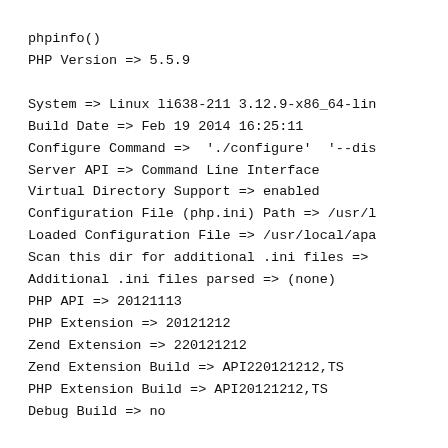phpinfo()
PHP Version => 5.5.9

System => Linux li638-211 3.12.9-x86_64-lin
Build Date => Feb 19 2014 16:25:11
Configure Command =>  './configure'  '--dis
Server API => Command Line Interface
Virtual Directory Support => enabled
Configuration File (php.ini) Path => /usr/l
Loaded Configuration File => /usr/local/apa
Scan this dir for additional .ini files =>
Additional .ini files parsed => (none)
PHP API => 20121113
PHP Extension => 20121212
Zend Extension => 220121212
Zend Extension Build => API220121212,TS
PHP Extension Build => API20121212,TS
Debug Build => no